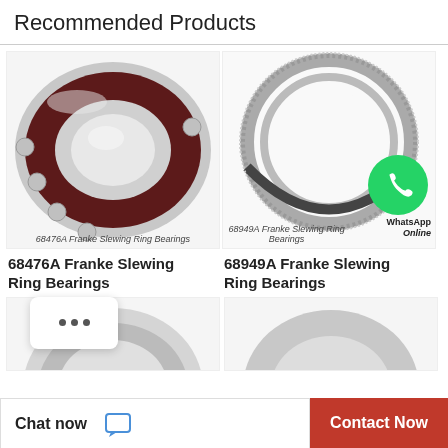Recommended Products
[Figure (photo): 68476A Franke Slewing Ring Bearing - angular contact ball bearing with maroon/brownish housing and steel balls]
68476A Franke Slewing Ring Bearings
68476A Franke Slewing Ring Bearings
[Figure (photo): 68949A Franke Slewing Ring Bearing - large ring slewing bearing with gear teeth, with WhatsApp Online overlay]
68949A Franke Slewing Ring Bearings
68949A Franke Slewing Ring Bearings
[Figure (photo): Partial view of a third bearing product - stainless steel slewing ring bearing]
Chat now  Contact Now